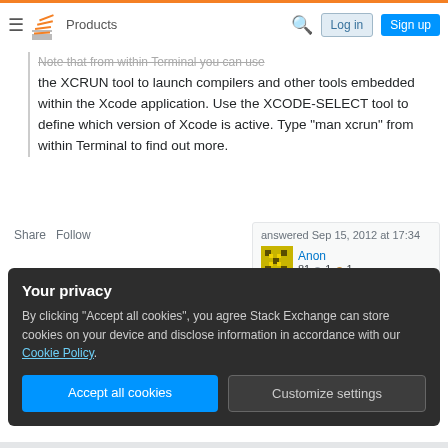≡  [Stack Overflow logo]  Products  🔍  Log in  Sign up
Note that from within Terminal you can use the XCRUN tool to launch compilers and other tools embedded within the Xcode application. Use the XCODE-SELECT tool to define which version of Xcode is active. Type "man xcrun" from within Terminal to find out more.
Share  Follow
answered Sep 15, 2012 at 17:34
Anon
81 ●1 ●1
Your privacy
By clicking "Accept all cookies", you agree Stack Exchange can store cookies on your device and disclose information in accordance with our Cookie Policy.
Accept all cookies
Customize settings